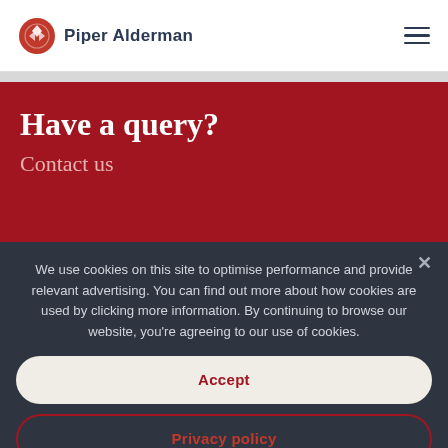Piper Alderman
Have a query?
Contact us
We use cookies on this site to optimise performance and provide relevant advertising. You can find out more about how cookies are used by clicking more information. By continuing to browse our website, you're agreeing to our use of cookies.
Accept
Privacy policy